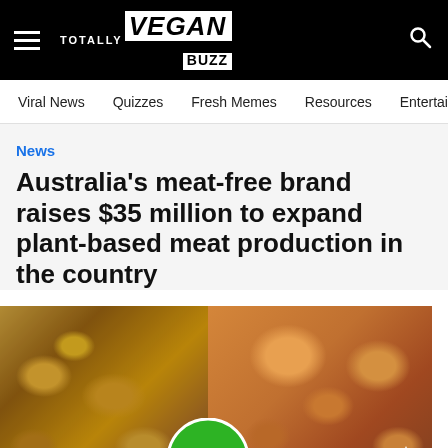TOTALLY VEGAN BUZZ
Viral News   Quizzes   Fresh Memes   Resources   Entertainme
News
Australia’s meat-free brand raises $35 million to expand plant-based meat production in the country
[Figure (photo): Two food photos side by side: left shows golden baked meat pies/tarts, right shows slider burgers with toppings. A green V2 logo badge overlaps the center bottom.]